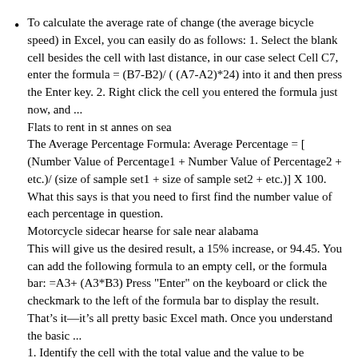To calculate the average rate of change (the average bicycle speed) in Excel, you can easily do as follows: 1. Select the blank cell besides the cell with last distance, in our case select Cell C7, enter the formula = (B7-B2)/ ( (A7-A2)*24) into it and then press the Enter key. 2. Right click the cell you entered the formula just now, and ...
Flats to rent in st annes on sea
The Average Percentage Formula: Average Percentage = [ (Number Value of Percentage1 + Number Value of Percentage2 + etc.)/ (size of sample set1 + size of sample set2 + etc.)] X 100. What this says is that you need to first find the number value of each percentage in question.
Motorcycle sidecar hearse for sale near alabama
This will give us the desired result, a 15% increase, or 94.45. You can add the following formula to an empty cell, or the formula bar: =A3+ (A3*B3) Press "Enter" on the keyboard or click the checkmark to the left of the formula bar to display the result. That's it—it's all pretty basic Excel math. Once you understand the basic ...
1. Identify the cell with the total value and the value to be quantified. e.g. H7 and I7. 2. Add a column for the percentage of the total. 3. Click on a cell in the column created. This is the cell into which the formula for the percentage total is to be entered. 4. Type the following formula: =B2/A2...